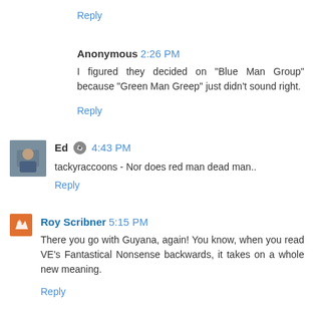Reply
Anonymous 2:26 PM
I figured they decided on "Blue Man Group" because "Green Man Greep" just didn't sound right.
Reply
Ed 4:43 PM
tackyraccoons - Nor does red man dead man..
Reply
Roy Scribner 5:15 PM
There you go with Guyana, again! You know, when you read VE's Fantastical Nonsense backwards, it takes on a whole new meaning.
Reply